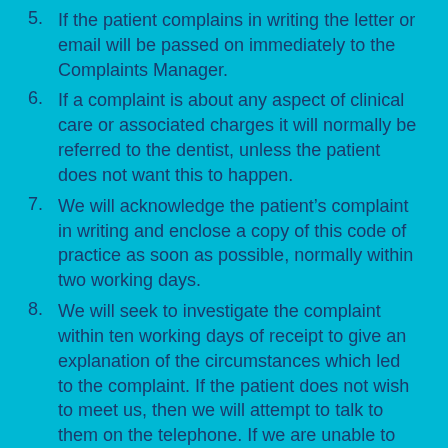5. If the patient complains in writing the letter or email will be passed on immediately to the Complaints Manager.
6. If a complaint is about any aspect of clinical care or associated charges it will normally be referred to the dentist, unless the patient does not want this to happen.
7. We will acknowledge the patient’s complaint in writing and enclose a copy of this code of practice as soon as possible, normally within two working days.
8. We will seek to investigate the complaint within ten working days of receipt to give an explanation of the circumstances which led to the complaint. If the patient does not wish to meet us, then we will attempt to talk to them on the telephone. If we are unable to investigate the complaint within ten working days we will notify the patient, giving